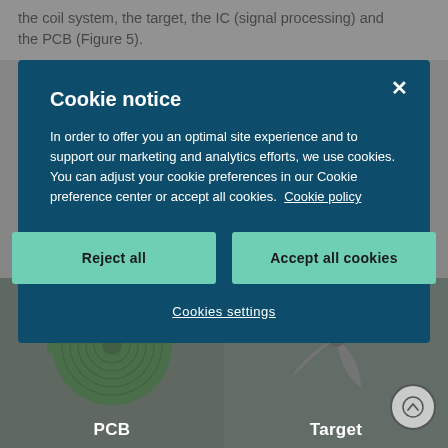the coil system, the target, the IC (signal processing) and the PCB (Figure 5).
[Figure (screenshot): Cookie notice modal dialog overlay on a webpage showing PCB and Target component images. Modal has dark teal background with title 'Cookie notice', descriptive text about cookies, two teal buttons ('Reject all' and 'Accept all cookies'), and a 'Cookies settings' link. Behind the modal are images of a green PCB coil board and a grey fan/target component.]
PCB
Target